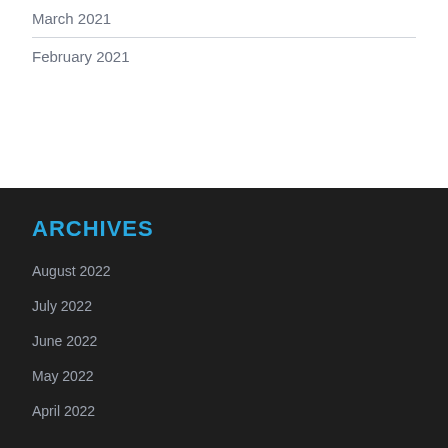March 2021
February 2021
ARCHIVES
August 2022
July 2022
June 2022
May 2022
April 2022